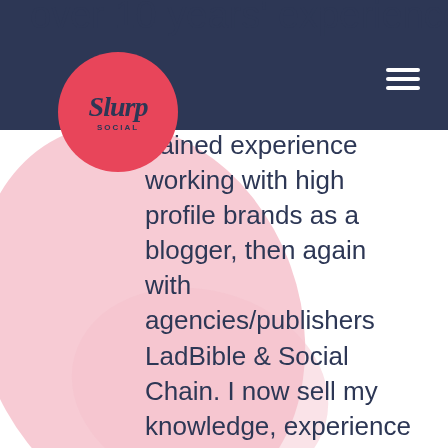[Figure (logo): Slurp Social circular logo in red/coral with script text on dark navy navigation bar background]
over 10 years' experience.
gained experience working with high profile brands as a blogger, then again with agencies/publishers LadBible & Social Chain. I now sell my knowledge, experience and skills in various forms as a freelance social media consultant.
Connecting brands to their consumers through impactful, creative social media activity, I cover all aspects of social media – from setup and management of accounts to creation of content and strategic, imaginative